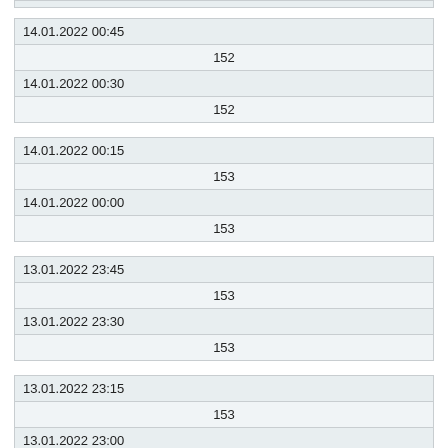| 14.01.2022 00:45 |  |
| --- | --- |
|  | 152 |
| 14.01.2022 00:30 |  |
| --- | --- |
|  | 152 |
| 14.01.2022 00:15 |  |
| --- | --- |
|  | 153 |
| 14.01.2022 00:00 |  |
| --- | --- |
|  | 153 |
| 13.01.2022 23:45 |  |
| --- | --- |
|  | 153 |
| 13.01.2022 23:30 |  |
| --- | --- |
|  | 153 |
| 13.01.2022 23:15 |  |
| --- | --- |
|  | 153 |
| 13.01.2022 23:00 |  |
| --- | --- |